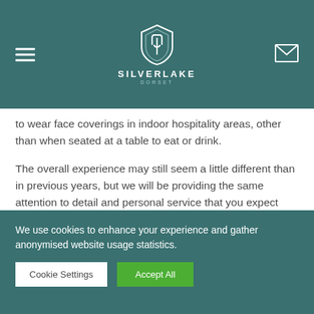SILVERLAKE DORSET
to wear face coverings in indoor hospitality areas, other than when seated at a table to eat or drink.
The overall experience may still seem a little different than in previous years, but we will be providing the same attention to detail and personal service that you expect from us.
We want to assure you that we’ve put measures in place to keep you and our teams safe, so that you can relax and enjoy every aspect of your time with us.
We use cookies to enhance your experience and gather anonymised website usage statistics.